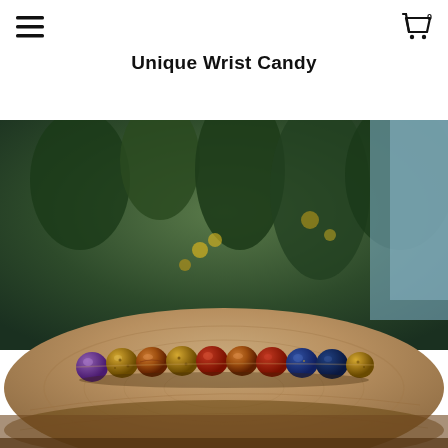Unique Wrist Candy
[Figure (photo): A beaded bracelet with colorful stones including purple amethyst, tiger eye, amber, red garnet, lapis lazuli and gold lava beads, displayed on a wooden stump with a blurred green forest background.]